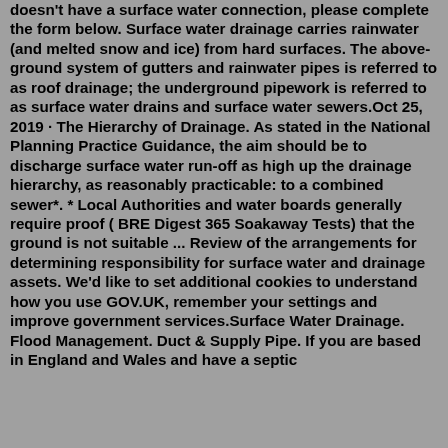doesn't have a surface water connection, please complete the form below. Surface water drainage carries rainwater (and melted snow and ice) from hard surfaces. The above-ground system of gutters and rainwater pipes is referred to as roof drainage; the underground pipework is referred to as surface water drains and surface water sewers.Oct 25, 2019 · The Hierarchy of Drainage. As stated in the National Planning Practice Guidance, the aim should be to discharge surface water run-off as high up the drainage hierarchy, as reasonably practicable: to a combined sewer*. * Local Authorities and water boards generally require proof ( BRE Digest 365 Soakaway Tests) that the ground is not suitable ... Review of the arrangements for determining responsibility for surface water and drainage assets. We'd like to set additional cookies to understand how you use GOV.UK, remember your settings and improve government services.Surface Water Drainage. Flood Management. Duct & Supply Pipe. If you are based in England and Wales and have a septic